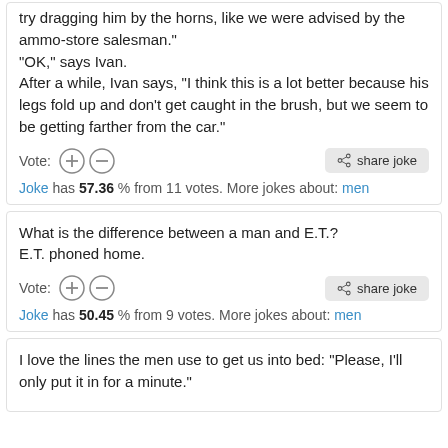try dragging him by the horns, like we were advised by the ammo-store salesman."
"OK," says Ivan.
After a while, Ivan says, "I think this is a lot better because his legs fold up and don't get caught in the brush, but we seem to be getting farther from the car."
Vote: [+] [-]   share joke
Joke has 57.36 % from 11 votes. More jokes about: men
What is the difference between a man and E.T.?
E.T. phoned home.
Vote: [+] [-]   share joke
Joke has 50.45 % from 9 votes. More jokes about: men
I love the lines the men use to get us into bed: "Please, I'll only put it in for a minute."